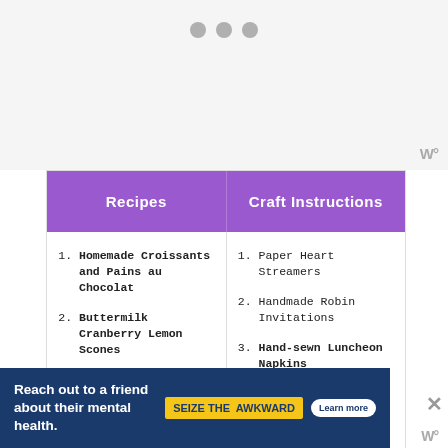[Figure (other): Gray loading placeholder area with three gray dots at top center and a 'W°' logo at bottom right]
| Recipes | Craft Instructions |
| --- | --- |
| 1. Homemade Croissants and Pains au Chocolat | 1. Paper Heart Streamers |
| 2. Buttermilk Cranberry Lemon Scones | 2. Handmade Robin Invitations |
| 3. Best Blueberry Streusel Muffins | 3. Hand-sewn Luncheon Napkins |
| 4. Buttermilk Brown Sugar Scones | 4. Shabby Chic Flower Jars |
[Figure (other): Advertisement banner: 'Reach out to a friend about their mental health.' with 'SEIZE THE AWKWARD' badge and Learn more button]
W°